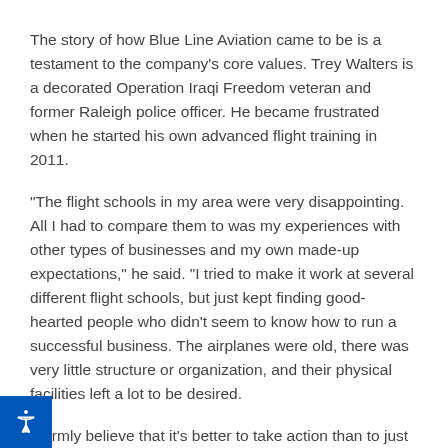The story of how Blue Line Aviation came to be is a testament to the company's core values. Trey Walters is a decorated Operation Iraqi Freedom veteran and former Raleigh police officer. He became frustrated when he started his own advanced flight training in 2011.
"The flight schools in my area were very disappointing. All I had to compare them to was my experiences with other types of businesses and my own made-up expectations," he said. "I tried to make it work at several different flight schools, but just kept finding good-hearted people who didn't seem to know how to run a successful business. The airplanes were old, there was very little structure or organization, and their physical facilities left a lot to be desired.
"I firmly believe that it's better to take action than to just complain about things we don't like. At the time, I was in